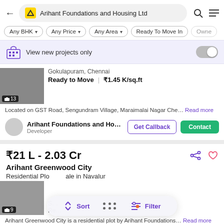Arihant Foundations and Housing Ltd
Any BHK  Any Price  Any Area  Ready To Move In  Owner
View new projects only
Gokulapuram, Chennai
Ready to Move  |  ₹1.45 K/sq.ft
Located on GST Road, Sengundram Village, Maraimalai Nagar Che…
Arihant Foundations and Ho…
Developer
₹21 L - 2.03 Cr
Arihant Greenwood City
Residential Plot for sale in Navalur
Arihant Greenwood City is a residential plot by Arihant Foundations…